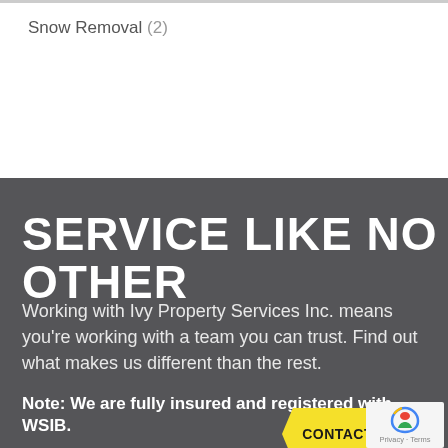Snow Removal (2)
SERVICE LIKE NO OTHER
Working with Ivy Property Services Inc. means you're working with a team you can trust. Find out what makes us different than the rest.
Note: We are fully insured and registered with WSIB.
CONTACT US